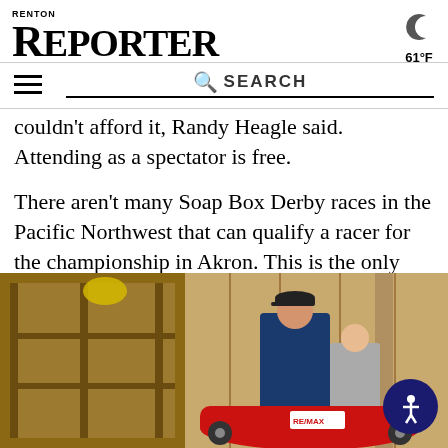RENTON REPORTER — 61°F
couldn't afford it, Randy Heagle said. Attending as a spectator is free.
There aren't many Soap Box Derby races in the Pacific Northwest that can qualify a racer for the championship in Akron. This is the only one in or near Snohomish County. One local driver has placed sixth nationally and hauled home a large, shiny trophy.
[Figure (photo): A man in a blue jacket and baseball cap leaning over a red REMAX-branded soap box derby car, with a young person beside him, inside a wooden workshop/garage.]